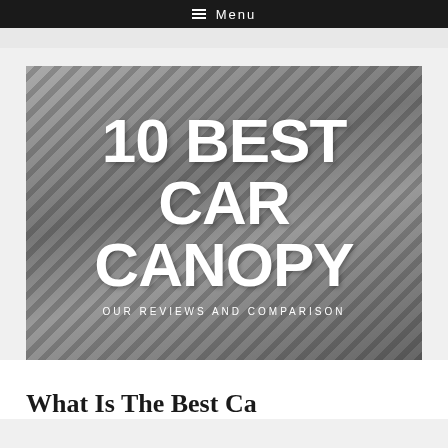Menu
[Figure (photo): Hero image showing car canopies / carport structure with diagonal striping shadows and parked cars, overlaid with large white bold text reading '10 BEST CAR CANOPY' and subtitle 'OUR REVIEWS AND COMPARISON']
What Is The Best Ca...